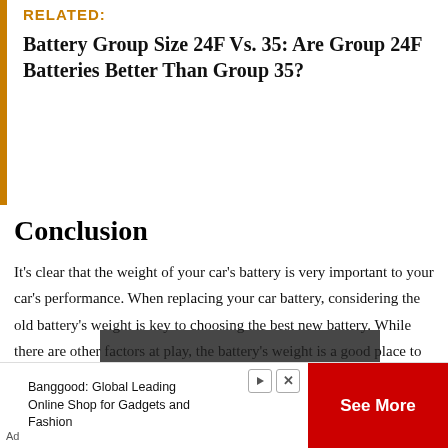RELATED:
Battery Group Size 24F Vs. 35: Are Group 24F Batteries Better Than Group 35?
Conclusion
It's clear that the weight of your car's battery is very important to your car's performance. When replacing your car battery, considering the old battery's weight is key to choosing the best new battery. While there are other factors at play, the battery's weight is a good place to start.
[Figure (other): Video player overlay showing 'No compatible source was found for this media.']
Banggood: Global Leading Online Shop for Gadgets and Fashion
See More